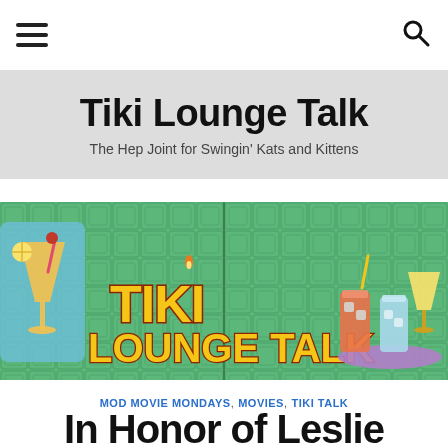☰  [search icon]
Tiki Lounge Talk
The Hep Joint for Swingin' Kats and Kittens
[Figure (illustration): Tiki Lounge Talk banner illustration on a green tiled background with decorative cocktail drinks and the text 'TIKI LOUNGE TALK' in large yellow letters]
MOD MOVIE MONDAYS, MOVIES, TIKI TALK
In Honor of Leslie